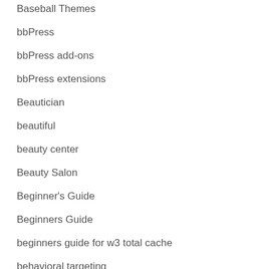Baseball Themes
bbPress
bbPress add-ons
bbPress extensions
Beautician
beautiful
beauty center
Beauty Salon
Beginner's Guide
Beginners Guide
beginners guide for w3 total cache
behavioral targeting
bellows accordion menu